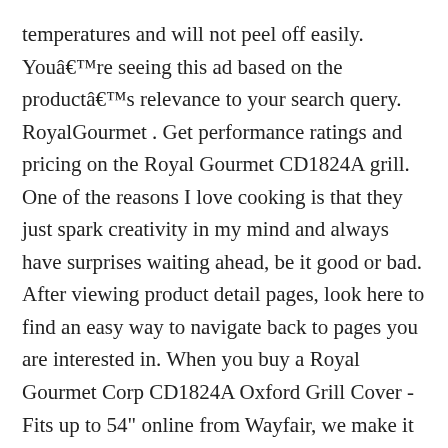temperatures and will not peel off easily. Youâre seeing this ad based on the productâs relevance to your search query. RoyalGourmet . Get performance ratings and pricing on the Royal Gourmet CD1824A grill. One of the reasons I love cooking is that they just spark creativity in my mind and always have surprises waiting ahead, be it good or bad. After viewing product detail pages, look here to find an easy way to navigate back to pages you are interested in. When you buy a Royal Gourmet Corp CD1824A Oxford Grill Cover - Fits up to 54" online from Wayfair, we make it as easy as possible for you to find out when your product will be delivered. The adjustable dampers will allow you to cook your food to perfection, using precise temperature control, which is exactly what you need in a charcoal grill. Recipes; Blogs; Customer Service . Sign In / Sign Up. Combo. 9" Stainless Steel Smoker